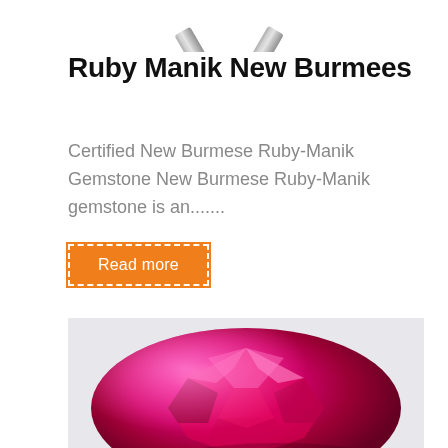[Figure (photo): Top portion of tweezers/gem-holding tool visible at top of page]
Ruby Manik New Burmees
Certified New Burmese Ruby-Manik Gemstone New Burmese Ruby-Manik gemstone is an.......
Read more
[Figure (photo): A bright pink/magenta oval-cut ruby gemstone (Burmese Ruby Manik) on a light background]